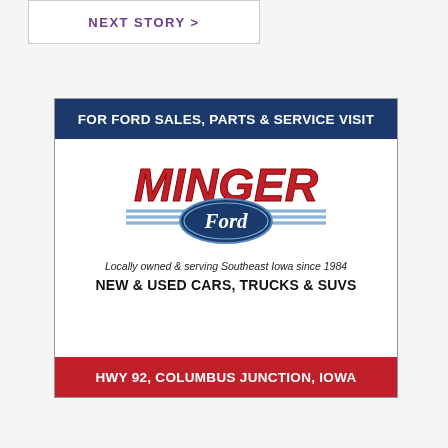NEXT STORY >
[Figure (logo): Minger Ford dealership advertisement. Blue header reading 'FOR FORD SALES, PARTS & SERVICE VISIT', Minger Ford logo in red and blue, tagline 'Locally owned & serving Southeast Iowa since 1984', 'NEW & USED CARS, TRUCKS & SUVS', red footer 'HWY 92, COLUMBUS JUNCTION, IOWA']
FOR FORD SALES, PARTS & SERVICE VISIT
Locally owned & serving Southeast Iowa since 1984
NEW & USED CARS, TRUCKS & SUVS
HWY 92, COLUMBUS JUNCTION, IOWA